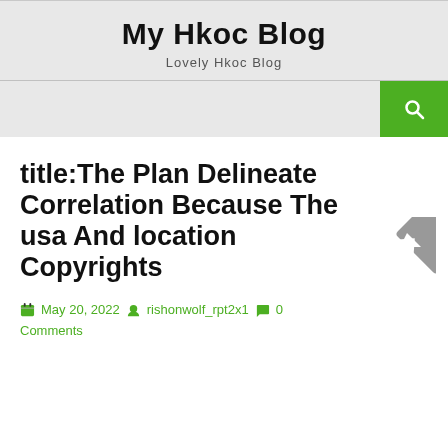My Hkoc Blog
Lovely Hkoc Blog
[Figure (other): Search bar with green search button icon]
title:The Plan Delineate Correlation Because The usa And location Copyrights
May 20, 2022  rishonwolf_rpt2x1  0 Comments